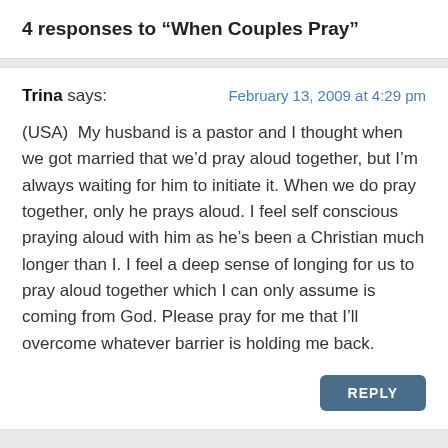4 responses to “When Couples Pray”
Trina says:
February 13, 2009 at 4:29 pm

(USA)  My husband is a pastor and I thought when we got married that we’d pray aloud together, but I’m always waiting for him to initiate it. When we do pray together, only he prays aloud. I feel self conscious praying aloud with him as he’s been a Christian much longer than I. I feel a deep sense of longing for us to pray aloud together which I can only assume is coming from God. Please pray for me that I’ll overcome whatever barrier is holding me back.